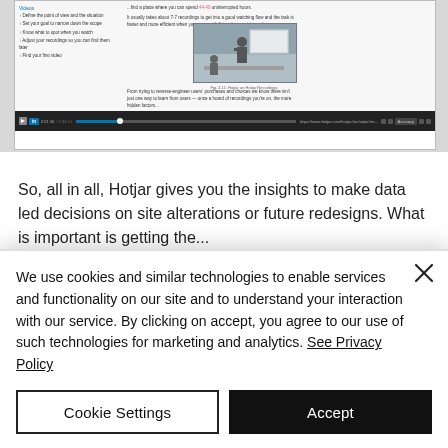[Figure (screenshot): Screenshot of a Hotjar video recording tutorial page showing a list of steps on the left, explanatory text on the right, a thumbnail image of a person presenting at a screen, and a video player control bar at the bottom.]
So, all in all, Hotjar gives you the insights to make data led decisions on site alterations or future redesigns. What is important is getting the...
We use cookies and similar technologies to enable services and functionality on our site and to understand your interaction with our service. By clicking on accept, you agree to our use of such technologies for marketing and analytics. See Privacy Policy
Cookie Settings
Accept